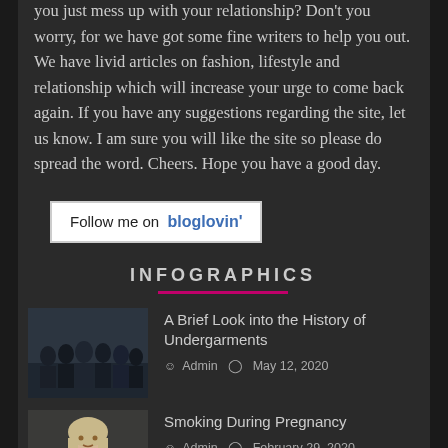you just mess up with your relationship? Don't you worry, for we have got some fine writers to help you out. We have livid articles on fashion, lifestyle and relationship which will increase your urge to come back again. If you have any suggestions regarding the site, let us know. I am sure you will like the site so please do spread the word. Cheers. Hope you have a good day.
[Figure (other): Follow me on bloglovin' button/badge]
INFOGRAPHICS
[Figure (photo): Thumbnail image of a group of people in dark clothing for the article 'A Brief Look into the History of Undergarments']
A Brief Look into the History of Undergarments
Admin  May 12, 2020
[Figure (photo): Thumbnail image of a woman with light hair for the article 'Smoking During Pregnancy']
Smoking During Pregnancy
Admin  February 29, 2020